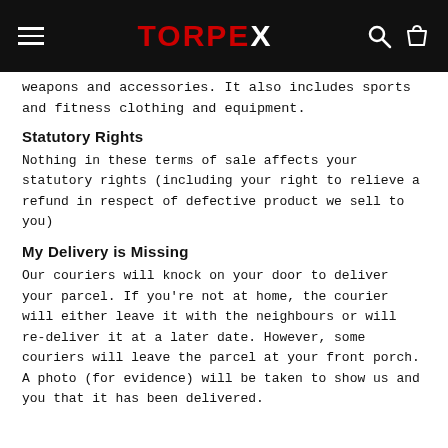TORPEX
weapons and accessories. It also includes sports and fitness clothing and equipment.
Statutory Rights
Nothing in these terms of sale affects your statutory rights (including your right to relieve a refund in respect of defective product we sell to you)
My Delivery is Missing
Our couriers will knock on your door to deliver your parcel. If you're not at home, the courier will either leave it with the neighbours or will re-deliver it at a later date. However, some couriers will leave the parcel at your front porch. A photo (for evidence) will be taken to show us and you that it has been delivered.